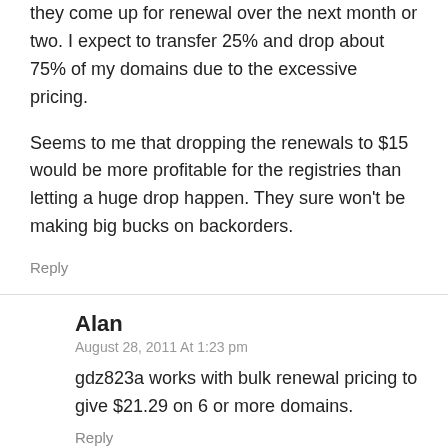they come up for renewal over the next month or two. I expect to transfer 25% and drop about 75% of my domains due to the excessive pricing.
Seems to me that dropping the renewals to $15 would be more profitable for the registries than letting a huge drop happen. They sure won't be making big bucks on backorders.
Reply
Alan
August 28, 2011 At 1:23 pm
gdz823a works with bulk renewal pricing to give $21.29 on 6 or more domains.
Reply
Leave a Reply